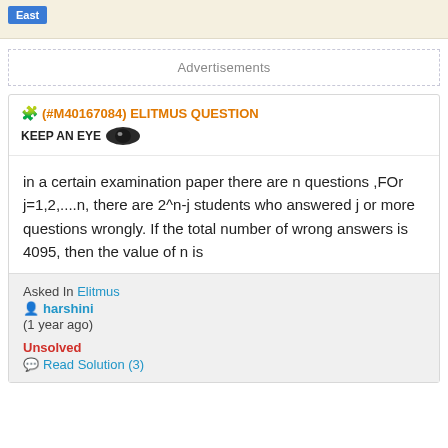East
Advertisements
(#M40167084) ELITMUS QUESTION
KEEP AN EYE
in a certain examination paper there are n questions ,FOr j=1,2,....n, there are 2^n-j students who answered j or more questions wrongly. If the total number of wrong answers is 4095, then the value of n is
Asked In Elitmus
harshini
(1 year ago)
Unsolved
Read Solution (3)